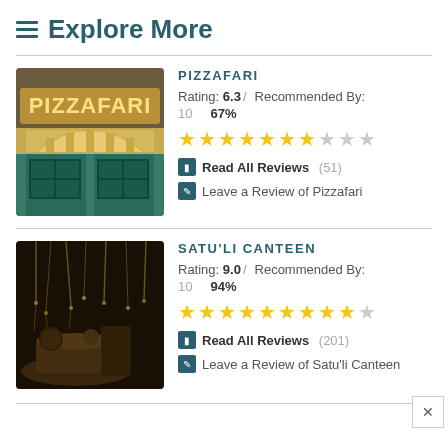≡ Explore More
PIZZAFARI
Rating: 6.3 / Recommended By: 10   67%
★★★★★★★☆☆☆
Read All Reviews (51)
Leave a Review of Pizzafari
SATU'LI CANTEEN
Rating: 9.0 / Recommended By: 10   94%
★★★★★★★★★☆
Read All Reviews (201)
Leave a Review of Satu'li Canteen